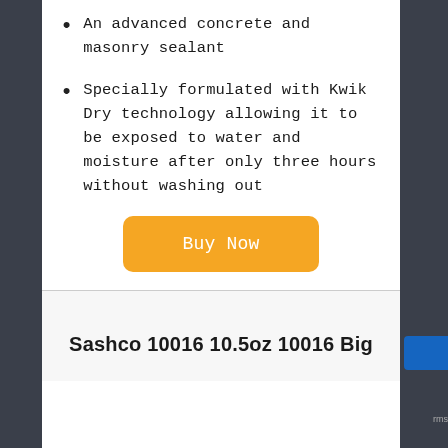An advanced concrete and masonry sealant
Specially formulated with Kwik Dry technology allowing it to be exposed to water and moisture after only three hours without washing out
Buy Now
Sashco 10016 10.5oz 10016 Big